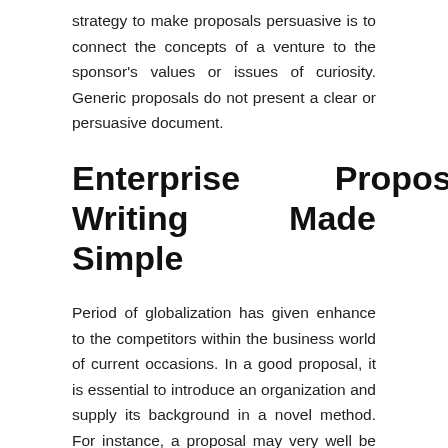strategy to make proposals persuasive is to connect the concepts of a venture to the sponsor's values or issues of curiosity. Generic proposals do not present a clear or persuasive document.
Enterprise Proposal Writing Made Simple
Period of globalization has given enhance to the competitors within the business world of current occasions. In a good proposal, it is essential to introduce an organization and supply its background in a novel method. For instance, a proposal may very well be used to wind down a company with the business proprietor in management, or to conclude non-profitable arms